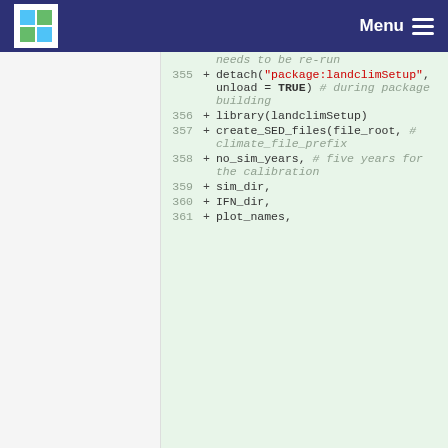Menu
Code diff showing lines 355-361 with additions: detach("package:landclimSetup", unload = TRUE) # during package building; library(landclimSetup); create_SED_files(file_root, # climate_file_prefix; no_sim_years, # five years for the calibration; sim_dir,; IFN_dir,; plot_names,